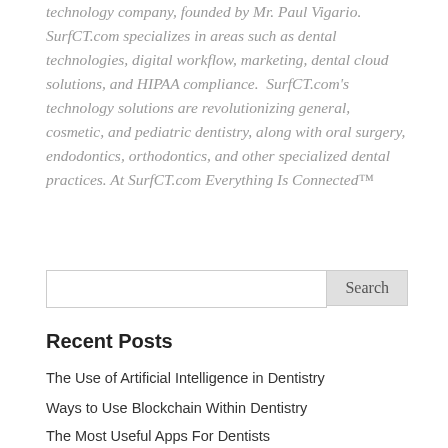technology company, founded by Mr. Paul Vigario. SurfCT.com specializes in areas such as dental technologies, digital workflow, marketing, dental cloud solutions, and HIPAA compliance.  SurfCT.com's technology solutions are revolutionizing general, cosmetic, and pediatric dentistry, along with oral surgery, endodontics, orthodontics, and other specialized dental practices. At SurfCT.com Everything Is Connected™
Search
Recent Posts
The Use of Artificial Intelligence in Dentistry
Ways to Use Blockchain Within Dentistry
The Most Useful Apps For Dentists